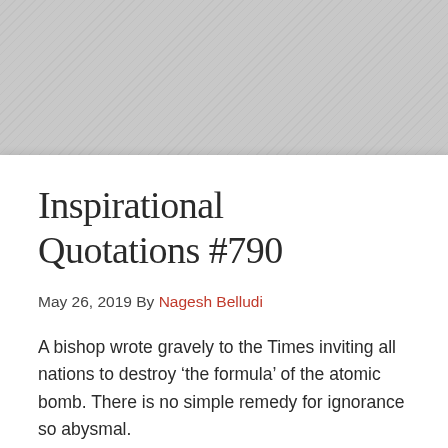Inspirational Quotations #790
May 26, 2019 By Nagesh Belludi
A bishop wrote gravely to the Times inviting all nations to destroy ‘the formula’ of the atomic bomb. There is no simple remedy for ignorance so abysmal.